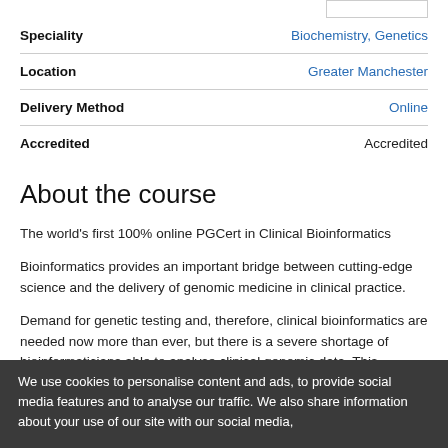| Field | Value |
| --- | --- |
| Speciality | Biochemistry, Genetics |
| Location | Greater Manchester |
| Delivery Method | Online |
| Accredited | Accredited |
About the course
The world's first 100% online PGCert in Clinical Bioinformatics
Bioinformatics provides an important bridge between cutting-edge science and the delivery of genomic medicine in clinical practice.
Demand for genetic testing and, therefore, clinical bioinformatics are needed now more than ever, but there is a severe shortage of bioinformaticians able to analyse clinical genomic data. This Postgraduate Certificate will enable you to gain the necessary skills
We use cookies to personalise content and ads, to provide social media features and to analyse our traffic. We also share information about your use of our site with our social media,